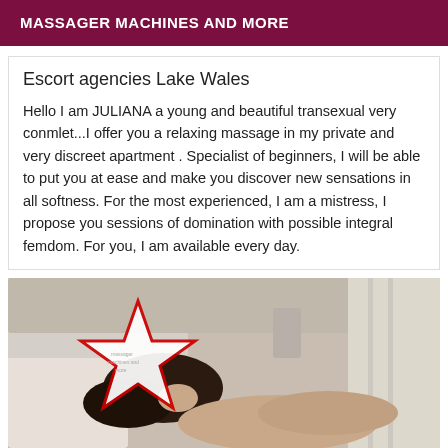MASSAGER MACHINES AND MORE
Escort agencies Lake Wales
Hello I am JULIANA a young and beautiful transexual very conmlet...I offer you a relaxing massage in my private and very discreet apartment . Specialist of beginners, I will be able to put you at ease and make you discover new sensations in all softness. For the most experienced, I am a mistress, I propose you sessions of domination with possible integral femdom. For you, I am available every day.
[Figure (photo): Photo of a person lying on a bed, partially obscured by a red and white star censor overlay. Background shows a beige headboard and curtains.]